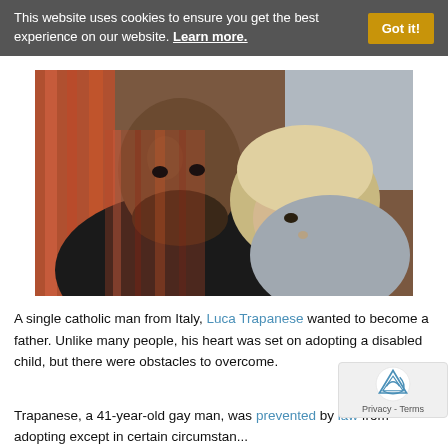This website uses cookies to ensure you get the best experience on our website. Learn more.
[Figure (photo): A bald man with a beard and a young blonde toddler lying together on a couch with striped cushions.]
A single catholic man from Italy, Luca Trapanese wanted to become a father. Unlike many people, his heart was set on adopting a disabled child, but there were obstacles to overcome.
Trapanese, a 41-year-old gay man, was prevented by law from adopting except in certain circumstances...